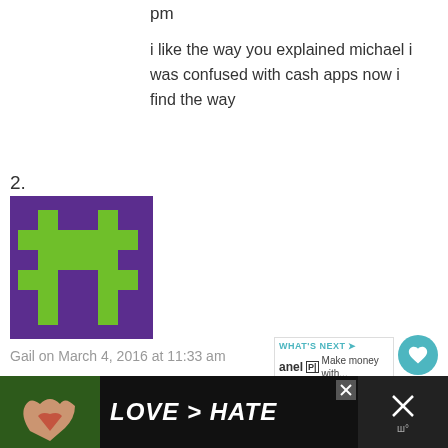pm
i like the way you explained michael i was confused with cash apps now i find the way
2.
[Figure (illustration): Pixel art avatar with purple background and green Minecraft-style creeper figure]
Gail on March 4, 2016 at 11:33 am
Spot on Michael i tried this app Grabpoints its the best paying android make money app i earned $5 in a few hours.Please log in with my invite code RDYXNU
3.
[Figure (screenshot): Bottom ad banner: hands making a heart shape with text LOVE > HATE on dark background]
[Figure (infographic): WHAT'S NEXT panel with anel logo and Make money with... text]